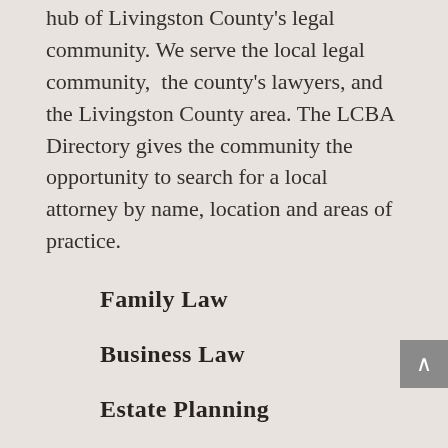hub of Livingston County's legal community. We serve the local legal community,  the county's lawyers, and the Livingston County area. The LCBA Directory gives the community the opportunity to search for a local attorney by name, location and areas of practice.
Family Law
Business Law
Estate Planning